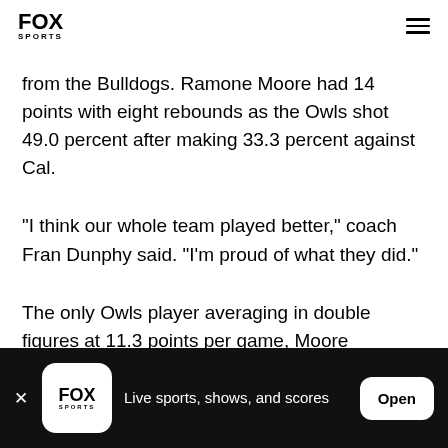FOX SPORTS
from the Bulldogs. Ramone Moore had 14 points with eight rebounds as the Owls shot 49.0 percent after making 33.3 percent against Cal.
"I think our whole team played better," coach Fran Dunphy said. "I'm proud of what they did."
The only Owls player averaging in double figures at 11.3 points per game, Moore bounced back after
FOX SPORTS — Live sports, shows, and scores — Open